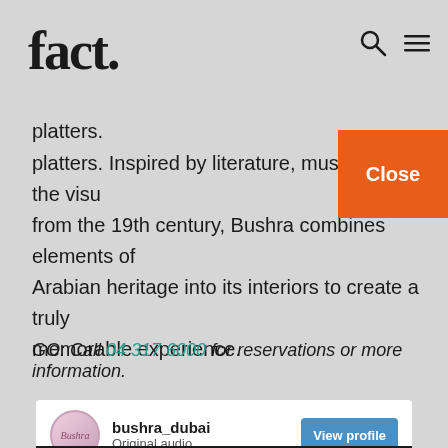fact.
platters. Inspired by literature, music and the visual arts from the 19th century, Bushra combines elements of Arabian heritage into its interiors to create a truly memorable experience.
GO: Call 04 317 6000 for reservations or more information.
[Figure (screenshot): Instagram embed card for bushra_dubai with 'View profile' button and a video/photo thumbnail below showing dark ambient interior imagery with a WhatsApp icon overlay]